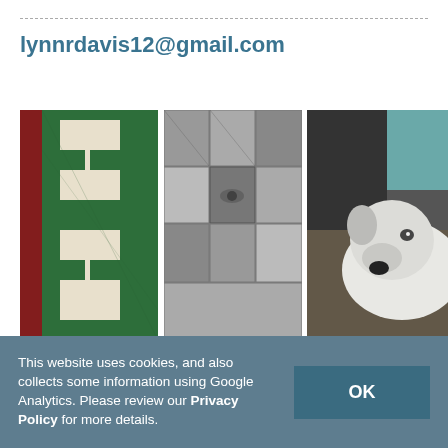lynnrdavis12@gmail.com
[Figure (photo): Three side-by-side photos: left shows a green and white quilt pattern with red floral border, center shows black and white collage of fabric/photo pieces arranged in a grid, right shows a white dog resting]
This website uses cookies, and also collects some information using Google Analytics. Please review our Privacy Policy for more details.